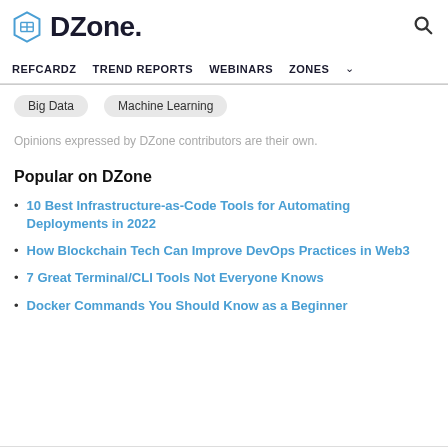DZone. REFCARDZ TREND REPORTS WEBINARS ZONES
Big Data
Machine Learning
Opinions expressed by DZone contributors are their own.
Popular on DZone
10 Best Infrastructure-as-Code Tools for Automating Deployments in 2022
How Blockchain Tech Can Improve DevOps Practices in Web3
7 Great Terminal/CLI Tools Not Everyone Knows
Docker Commands You Should Know as a Beginner